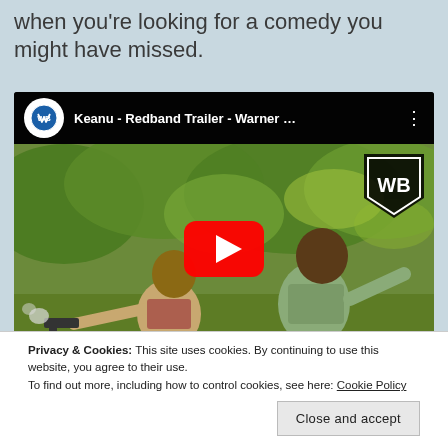when you're looking for a comedy you might have missed.
[Figure (screenshot): YouTube video embed showing 'Keanu - Redband Trailer - Warner ...' with Warner Bros logo, a movie scene with two men running/dodging, and a red YouTube play button in the center.]
Privacy & Cookies: This site uses cookies. By continuing to use this website, you agree to their use.
To find out more, including how to control cookies, see here: Cookie Policy
Close and accept